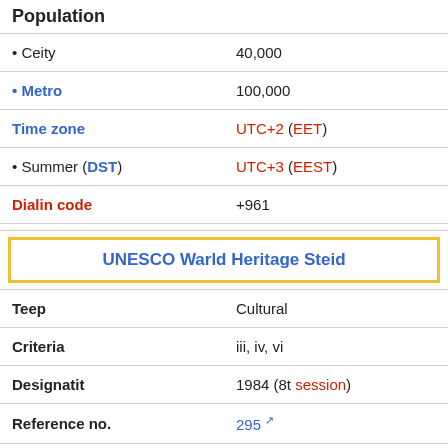| Field | Value |
| --- | --- |
| Population |  |
| • Ceity | 40,000 |
| • Metro | 100,000 |
| Time zone | UTC+2 (EET) |
| • Summer (DST) | UTC+3 (EEST) |
| Dialin code | +961 |
| UNESCO Warld Heritage Steid |  |
| Teep | Cultural |
| Criteria | iii, iv, vi |
| Designatit | 1984 (8t session) |
| Reference no. | 295 ↗ |
| State Rairty | Lebanon |